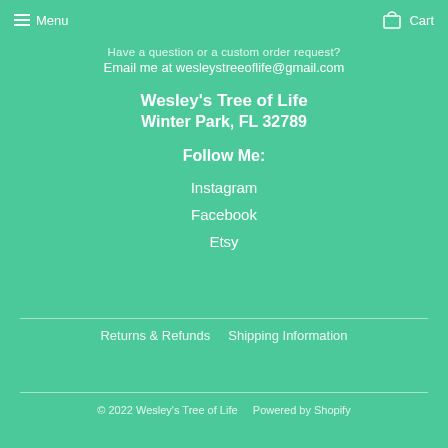Menu   Cart
Have a question or a custom order request?
Email me at wesleystreeoflife@gmail.com
Wesley's Tree of Life
Winter Park, FL 32789
Follow Me:
Instagram
Facebook
Etsy
Returns & Refunds   Shipping Information
© 2022 Wesley's Tree of Life    Powered by Shopify